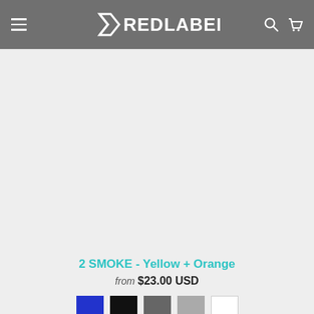RED LABEL — navigation header with hamburger menu, logo, search and cart icons
[Figure (photo): Product image area — light gray background, product not visible]
2 SMOKE - Yellow + Orange
from $23.00 USD
[Figure (other): Color swatches: blue, black, dark gray, light gray, white]